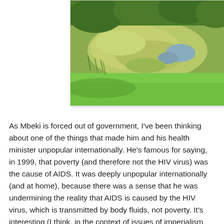[Figure (photo): Outdoor photograph of a wetland or pond area with green algae or duckweed covering still water, surrounded by green grass and shrubs/trees in the background.]
As Mbeki is forced out of government, I've been thinking about one of the things that made him and his health minister unpopular internationally. He's famous for saying, in 1999, that poverty (and therefore not the HIV virus) was the cause of AIDS. It was deeply unpopular internationally (and at home), because there was a sense that he was undermining the reality that AIDS is caused by the HIV virus, which is transmitted by body fluids, not poverty. It's interesting (I think, in the context of issues of imperialism, colonialism, and racism) that the international community (or